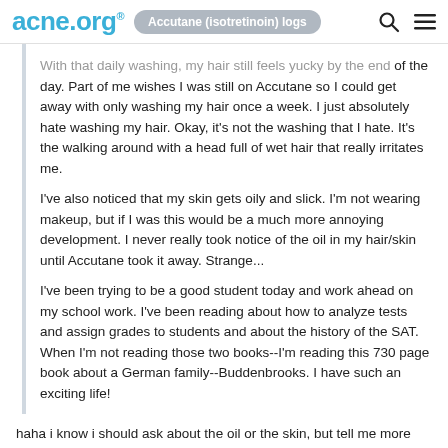acne.org® | Accutane (isotretinoin) logs
With that daily washing, my hair still feels yucky by the end of the day. Part of me wishes I was still on Accutane so I could get away with only washing my hair once a week. I just absolutely hate washing my hair. Okay, it's not the washing that I hate. It's the walking around with a head full of wet hair that really irritates me.
I've also noticed that my skin gets oily and slick. I'm not wearing makeup, but if I was this would be a much more annoying development. I never really took notice of the oil in my hair/skin until Accutane took it away. Strange...
I've been trying to be a good student today and work ahead on my school work. I've been reading about how to analyze tests and assign grades to students and about the history of the SAT. When I'm not reading those two books--I'm reading this 730 page book about a German family--Buddenbrooks. I have such an exciting life!
haha i know i should ask about the oil or the skin, but tell me more about the book?! who is the author?